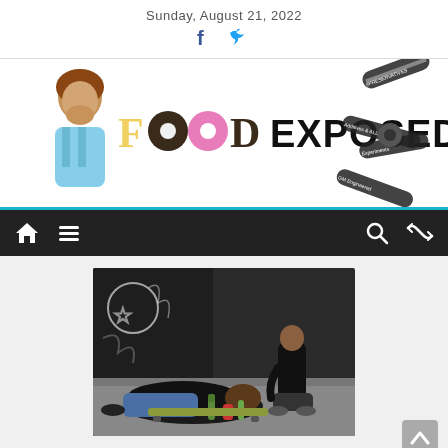Sunday, August 21, 2022
[Figure (logo): Food Exposed website banner logo with woman covering mouth, food-themed letters spelling FOOD EXPOSED with a zipper graphic on the right]
[Figure (illustration): Navigation bar with home icon, menu icon, search icon, and shuffle icon on dark background]
[Figure (photo): Photo of person lying face down on a bench/skateboard with bottles around them, another person sitting in background against graffiti wall]